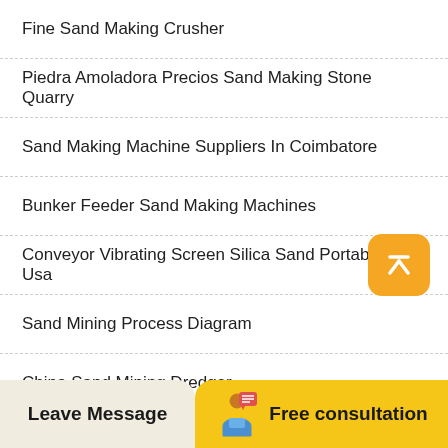Fine Sand Making Crusher
Piedra Amoladora Precios Sand Making Stone Quarry
Sand Making Machine Suppliers In Coimbatore
Bunker Feeder Sand Making Machines
Conveyor Vibrating Screen Silica Sand Portable In Usa
Sand Mining Process Diagram
China Sand Mining Dredger
Stone Crushers In Najibabad Sand Making Sto
Leave Message   Free consultation